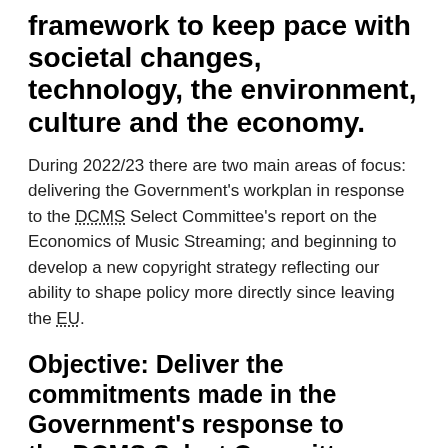framework to keep pace with societal changes, technology, the environment, culture and the economy.
During 2022/23 there are two main areas of focus: delivering the Government’s workplan in response to the DCMS Select Committee’s report on the Economics of Music Streaming; and beginning to develop a new copyright strategy reflecting our ability to shape policy more directly since leaving the EU.
Objective: Deliver the commitments made in the Government’s response to the DCMS Select Committee report on the Economics of Music Streaming.
The Select Committee’s report highlighted